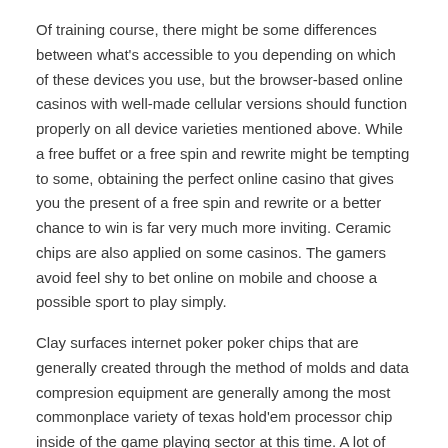Of training course, there might be some differences between what's accessible to you depending on which of these devices you use, but the browser-based online casinos with well-made cellular versions should function properly on all device varieties mentioned above. While a free buffet or a free spin and rewrite might be tempting to some, obtaining the perfect online casino that gives you the present of a free spin and rewrite or a better chance to win is far very much more inviting. Ceramic chips are also applied on some casinos. The gamers avoid feel shy to bet online on mobile and choose a possible sport to play simply.
Clay surfaces internet poker poker chips that are generally created through the method of molds and data compresion equipment are generally among the most commonplace variety of texas hold'em processor chip inside of the game playing sector at this time. A lot of folks currently have fun game titles on their cell phone resources, hence the appeal of trying to play casino site games can be comprehended simply. You can start playing the mobile casino with a higher balance than oppositions. In anticipated time period, the array of the cellular modern casino game titles shall expand, as the wireless technology develops before with a swiftness certainly not found, so